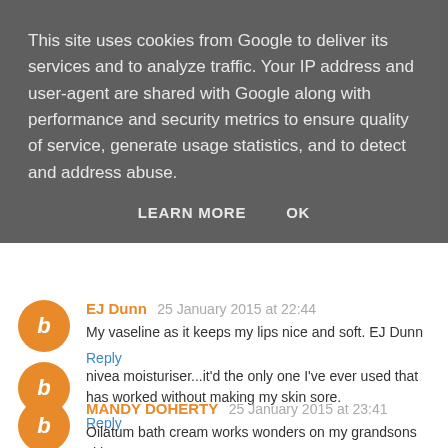This site uses cookies from Google to deliver its services and to analyze traffic. Your IP address and user-agent are shared with Google along with performance and security metrics to ensure quality of service, generate usage statistics, and to detect and address abuse.
LEARN MORE    OK
nivea moisturiser...it'd the only one I've ever used that has worked without making my skin sore.
Reply
EJ Dunn  25 January 2015 at 22:44
My vaseline as it keeps my lips nice and soft. EJ Dunn
Reply
MANDY DOHERTY  25 January 2015 at 23:41
Oilatum bath cream works wonders on my grandsons skin
Reply